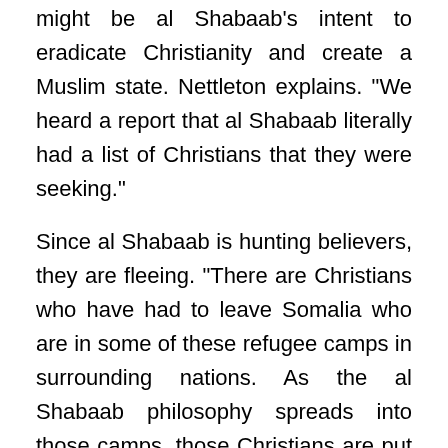might be al Shabaab's intent to eradicate Christianity and create a Muslim state. Nettleton explains. "We heard a report that al Shabaab literally had a list of Christians that they were seeking."
Since al Shabaab is hunting believers, they are fleeing. "There are Christians who have had to leave Somalia who are in some of these refugee camps in surrounding nations. As the al Shabaab philosophy spreads into those camps, those Christians are put directly at risk." For example: Kenya.
Despite the oppression, Nettleton says the Gospel can't be discounted. There is still a remnant church, albeit deep underground.
Voice of the Martyrs has found a way to let them know they're not forgotten. "It's a challenge to find Christians, it's